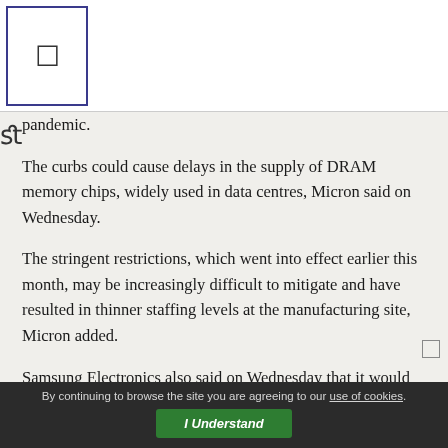pandemic.
The curbs could cause delays in the supply of DRAM memory chips, widely used in data centres, Micron said on Wednesday.
The stringent restrictions, which went into effect earlier this month, may be increasingly difficult to mitigate and have resulted in thinner staffing levels at the manufacturing site, Micron added.
Samsung Electronics also said on Wednesday that it would temporarily adjust operations at its Xian manufacturing facilities for NAND flash memory chips, used for data
By continuing to browse the site you are agreeing to our use of cookies. I Understand